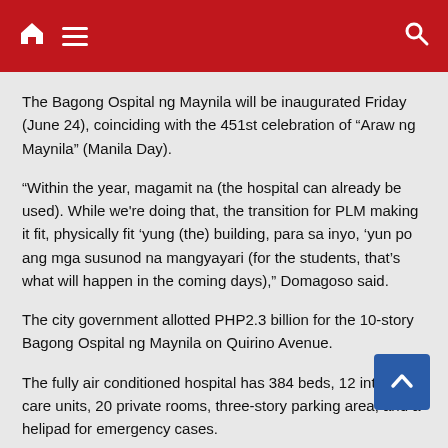Navigation header with home, menu, and search icons
The Bagong Ospital ng Maynila will be inaugurated Friday (June 24), coinciding with the 451st celebration of “Araw ng Maynila” (Manila Day).
“Within the year, magamit na (the hospital can already be used). While we're doing that, the transition for PLM making it fit, physically fit ‘yung (the) building, para sa inyo, ‘yun po ang mga susunod na mangyayari (for the students, that’s what will happen in the coming days),” Domagoso said.
The city government allotted PHP2.3 billion for the 10-story Bagong Ospital ng Maynila on Quirino Avenue.
The fully air conditioned hospital has 384 beds, 12 intensive care units, 20 private rooms, three-story parking area, and a helipad for emergency cases.